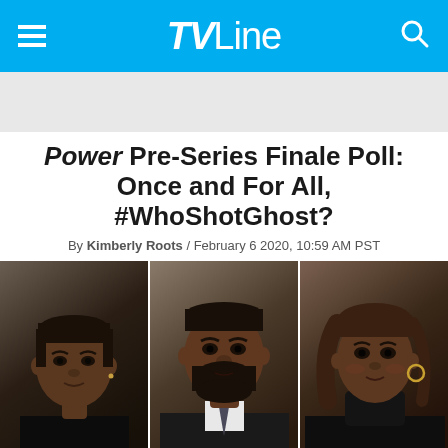TVLine
Power Pre-Series Finale Poll: Once and For All, #WhoShotGhost?
By Kimberly Roots / February 6 2020, 10:59 AM PST
[Figure (photo): Three-panel photo strip showing three characters from the TV show Power: a young Black man on the left, a tall Black man with a beard in the center, and a Black woman on the right.]